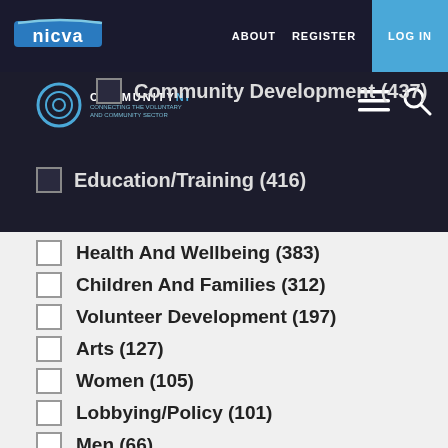nicva | ABOUT REGISTER LOG IN
[Figure (logo): NICVA logo with white arc and text on dark background]
[Figure (logo): CommunityNI logo with circular icon on dark background]
Community Development (437)
Education/Training (416)
Health And Wellbeing (383)
Children And Families (312)
Volunteer Development (197)
Arts (127)
Women (105)
Lobbying/Policy (101)
Men (66)
Rural Development (60)
Carers (57)
Housing And Homelessness (55)